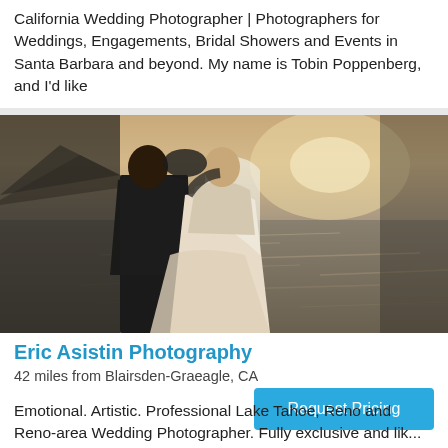California Wedding Photographer | Photographers for Weddings, Engagements, Bridal Showers and Events in Santa Barbara and beyond. My name is Tobin Poppenberg, and I'd like
[Figure (photo): Wedding couple kissing near a sparkling body of water at sunset, groom in black suit, bride in white dress with veil]
Eric Asistin Photography
42 miles from Blairsden-Graeagle, CA
Request Pricing
Emotional. Artistic. Professional Lake Tahoe, Reno and Reno-area Wedding Photographer. Fully exclusive and lik...